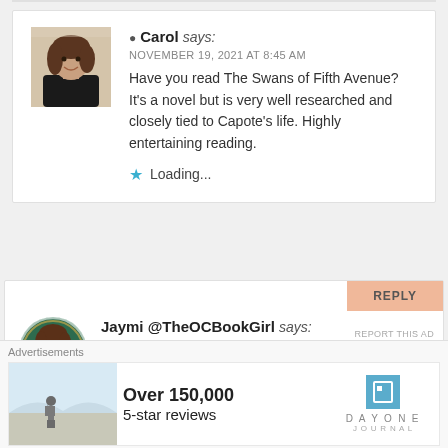[Figure (photo): Comment card for Carol with profile photo]
Carol says:
NOVEMBER 19, 2021 AT 8:45 AM
Have you read The Swans of Fifth Avenue? It's a novel but is very well researched and closely tied to Capote's life. Highly entertaining reading.
Loading...
REPLY
[Figure (photo): Comment card for Jaymi @TheOCBookGirl with profile photo]
Jaymi @TheOCBookGirl says:
NOVEMBER 18, 2021 AT 9:52 PM
Advertisements
[Figure (photo): Advertisement banner: Over 150,000 5-star reviews, Day One Journal]